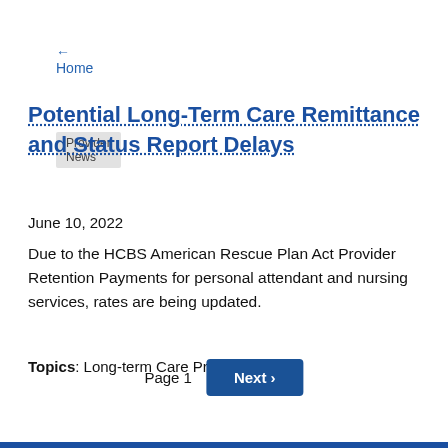← Home
Provider News
Potential Long-Term Care Remittance and Status Report Delays
June 10, 2022
Due to the HCBS American Rescue Plan Act Provider Retention Payments for personal attendant and nursing services, rates are being updated.
Topics: Long-term Care Providers
Page 1  Next ›